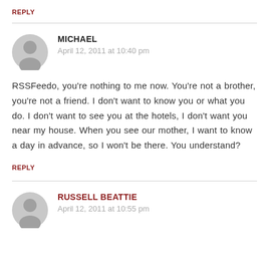REPLY
MICHAEL
April 12, 2011 at 10:40 pm
RSSFeedo, you're nothing to me now. You're not a brother, you're not a friend. I don't want to know you or what you do. I don't want to see you at the hotels, I don't want you near my house. When you see our mother, I want to know a day in advance, so I won't be there. You understand?
REPLY
RUSSELL BEATTIE
April 12, 2011 at 10:55 pm